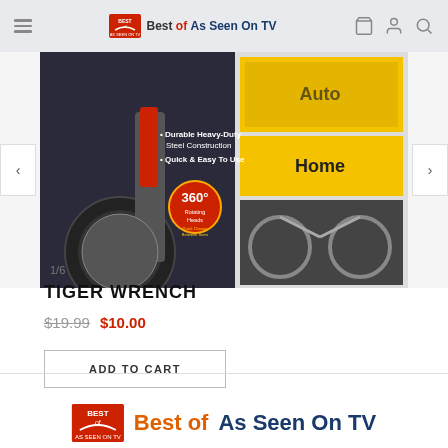Best of As Seen On TV
[Figure (photo): Product packaging image of Tiger Wrench showing a multi-function wrench with 360-degree rotating heads, used for auto, home, and outdoor applications. Text on packaging: Durable Heavy-Duty Steel Construction, Quick & Easy To Use, 360° Rotating Heads, Quick Change Between Sizes.]
1/6
TIGER WRENCH
$19.99 $10.00
ADD TO CART
Best of As Seen On TV